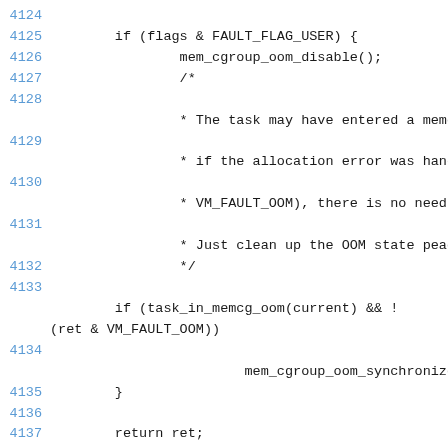Source code listing, lines 4124-4141, showing C kernel code for handle_mm_fault function with memcg OOM handling and EXPORT_SYMBOL_GPL.